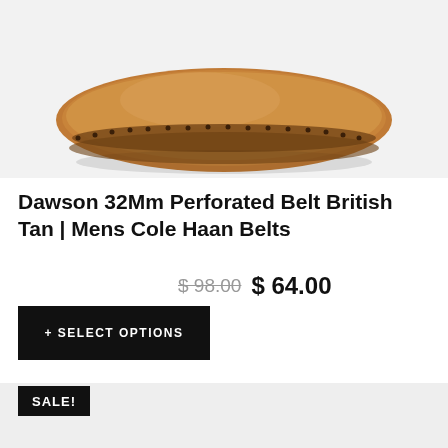[Figure (photo): Close-up bottom portion of a tan/brown leather brogue shoe on a light grey background]
Dawson 32Mm Perforated Belt British Tan | Mens Cole Haan Belts
$ 98.00  $ 64.00
+ SELECT OPTIONS
SALE!
[Figure (photo): Partial product image on light grey background, bottom portion cut off]